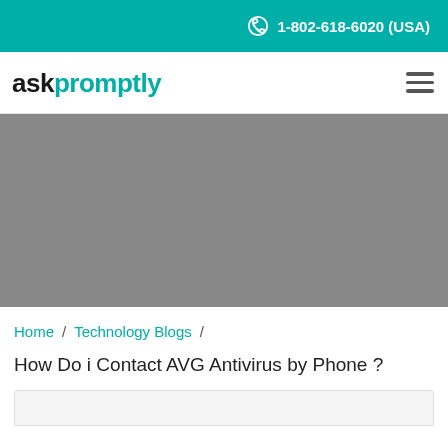1-802-618-6020 (USA)
[Figure (logo): askpromptly logo with teal colored 'promptly' text and hamburger menu icon]
[Figure (photo): Gray placeholder hero image]
Home / Technology Blogs /
How Do i Contact AVG Antivirus by Phone ?